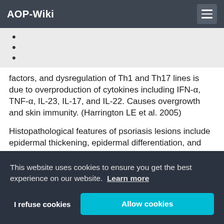AOP-Wiki
factors, and dysregulation of Th1 and Th17 lines is due to overproduction of cytokines including IFN-α, TNF-α, IL-23, IL-17, and IL-22. Causes overgrowth and skin immunity. (Harrington LE et al. 2005)
Histopathological features of psoriasis lesions include epidermal thickening, epidermal differentiation, and epidermal protrusions (reticular ridges), with intraepithelial neut... immu... See ... used... appli...
This website uses cookies to ensure you get the best experience on our website. Learn more
I refuse cookies
Allow cookies